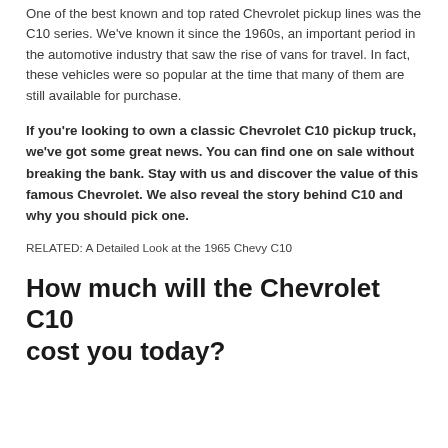One of the best known and top rated Chevrolet pickup lines was the C10 series. We've known it since the 1960s, an important period in the automotive industry that saw the rise of vans for travel. In fact, these vehicles were so popular at the time that many of them are still available for purchase.
If you're looking to own a classic Chevrolet C10 pickup truck, we've got some great news. You can find one on sale without breaking the bank. Stay with us and discover the value of this famous Chevrolet. We also reveal the story behind C10 and why you should pick one.
RELATED: A Detailed Look at the 1965 Chevy C10
How much will the Chevrolet C10 cost you today?